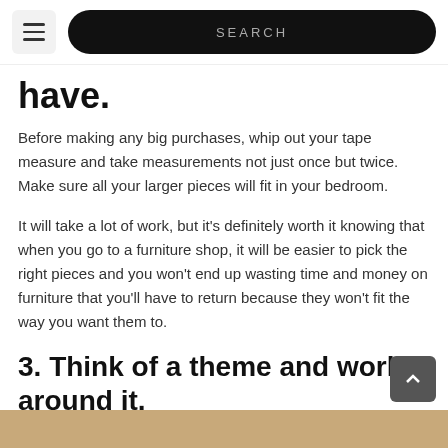SEARCH
have.
Before making any big purchases, whip out your tape measure and take measurements not just once but twice. Make sure all your larger pieces will fit in your bedroom.
It will take a lot of work, but it’s definitely worth it knowing that when you go to a furniture shop, it will be easier to pick the right pieces and you won’t end up wasting time and money on furniture that you’ll have to return because they won’t fit the way you want them to.
3. Think of a theme and work around it.
[Figure (photo): Bottom strip of a wooden surface image, partially visible at the bottom of the page.]